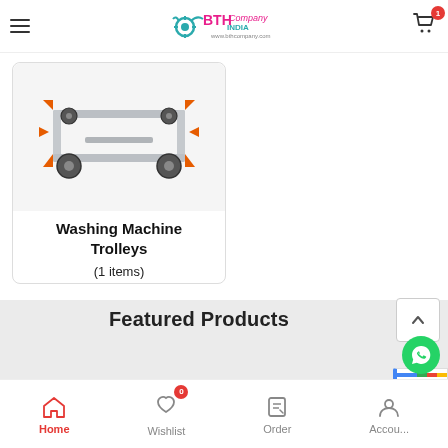BTH Company India — www.bthcompany.com
[Figure (photo): Washing machine trolley with wheels and orange corner brackets on a gray metal frame]
Washing Machine Trolleys
(1 items)
Featured Products
Home  Wishlist (0)  Order  Account